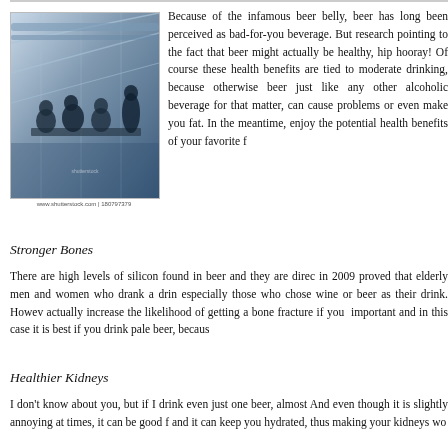[Figure (photo): Black and white/blue-toned photo of people sitting around a table in what appears to be a modern building with large windows and industrial ceiling. Shutterstock watermark visible. Image credit: www.shutterstock.com | 180797379]
Because of the infamous beer belly, beer has long been perceived as bad-for-you beverage. But research pointing to the fact that beer might actually be healthy, hip hooray! Of course these health benefits are tied to moderate drinking, because otherwise beer just like any other alcoholic beverage for that matter, can cause problems or even make you fat. In the meantime, enjoy the potential health benefits of your favorite brew.
Stronger Bones
There are high levels of silicon found in beer and they are directly linked to bone density. A study done in 2009 proved that elderly men and women who drank a drink a day had higher bone density, especially those who chose wine or beer as their drink. However, drinking too much can actually increase the likelihood of getting a bone fracture if you were to fall. Moderation is important and in this case it is best if you drink pale beer, because
Healthier Kidneys
I don't know about you, but if I drink even just one beer, almost instantly I have to urinate. And even though it is slightly annoying at times, it can be good for you to clear out your kidneys and it can keep you hydrated, thus making your kidneys wor